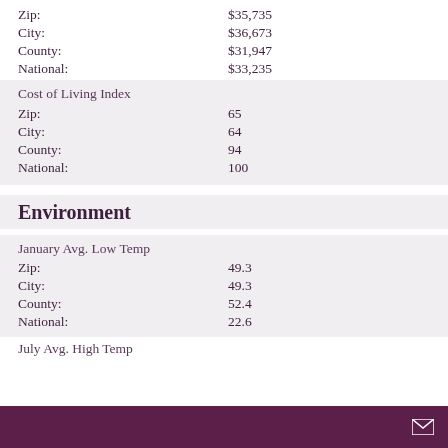|  |  |
| --- | --- |
| Zip: | $35,735 |
| City: | $36,673 |
| County: | $31,947 |
| National: | $33,235 |
Cost of Living Index
|  |  |
| --- | --- |
| Zip: | 65 |
| City: | 64 |
| County: | 94 |
| National: | 100 |
Environment
January Avg. Low Temp
|  |  |
| --- | --- |
| Zip: | 49.3 |
| City: | 49.3 |
| County: | 52.4 |
| National: | 22.6 |
July Avg. High Temp